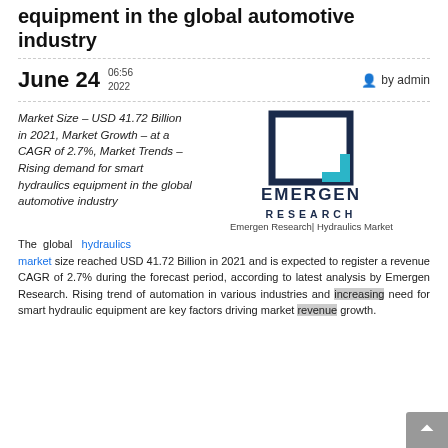equipment in the global automotive industry
June 24  06:56 2022  by admin
Market Size – USD 41.72 Billion in 2021, Market Growth – at a CAGR of 2.7%, Market Trends – Rising demand for smart hydraulics equipment in the global automotive industry
[Figure (logo): Emergen Research logo with teal square bracket icon and bold navy text]
The global hydraulics market size reached USD 41.72 Billion in 2021 and is expected to register a revenue CAGR of 2.7% during the forecast period, according to latest analysis by Emergen Research. Rising trend of automation in various industries and increasing need for smart hydraulic equipment are key factors driving market revenue growth.
Emergen Research| Hydraulics Market